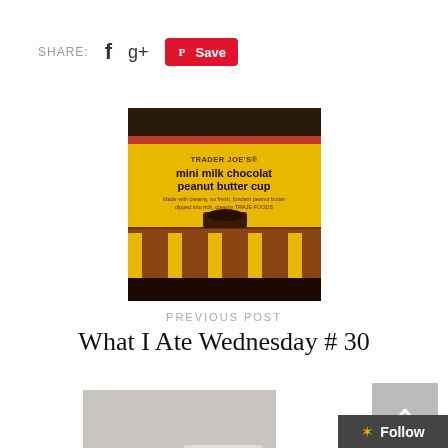[Figure (infographic): Social share bar with SHARE: label, Facebook f icon, Google+ icon, and Pinterest Save button]
[Figure (photo): Photo of Trader Joe's mini milk chocolate peanut butter cups packaging — yellow and brown box]
PREVIOUS POST
What I Ate Wednesday # 30
[Figure (photo): Photo of what appears to be a hospital bassinet or baby items wrapped with a ribbon]
NEXT POST
Isabella is TWO!!
[Figure (infographic): Back to top button — grey square with upward chevron arrow]
[Figure (infographic): Follow button — dark grey rectangle with star icon and Follow text]